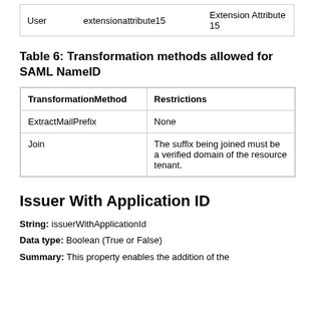| User | extensionattribute15 | Extension Attribute 15 |
Table 6: Transformation methods allowed for SAML NameID
| TransformationMethod | Restrictions |
| --- | --- |
| ExtractMailPrefix | None |
| Join | The suffix being joined must be a verified domain of the resource tenant. |
Issuer With Application ID
String: issuerWithApplicationId
Data type: Boolean (True or False)
Summary: This property enables the addition of the